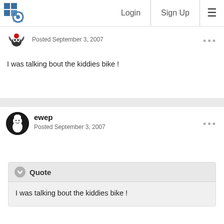Login  Sign Up
Posted September 3, 2007
I was talking bout the kiddies bike !
ewep
Posted September 3, 2007
Quote
I was talking bout the kiddies bike !